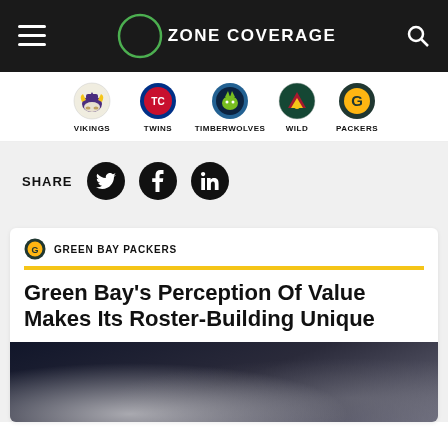ZONE COVERAGE
[Figure (logo): Navigation bar with team logos: Vikings, Twins, Timberwolves, Wild, Packers]
SHARE
GREEN BAY PACKERS
Green Bay's Perception Of Value Makes Its Roster-Building Unique
[Figure (photo): Dark background photo with light effects, partially visible at bottom of page]